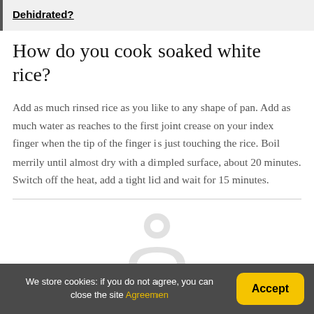Dehidrated?
How do you cook soaked white rice?
Add as much rinsed rice as you like to any shape of pan. Add as much water as reaches to the first joint crease on your index finger when the tip of the finger is just touching the rice. Boil merrily until almost dry with a dimpled surface, about 20 minutes. Switch off the heat, add a tight lid and wait for 15 minutes.
[Figure (illustration): Generic user avatar icon (circle with person silhouette) in light gray]
We store cookies: if you do not agree, you can close the site Agreemen  Accept